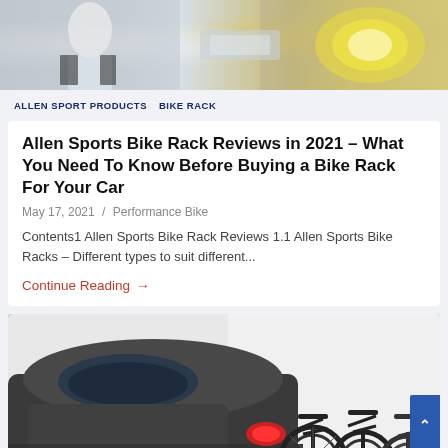[Figure (photo): Top partial image showing a person in white shirt and a vehicle headlight/yellow reflector area]
ALLEN SPORT PRODUCTS   BIKE RACK
Allen Sports Bike Rack Reviews in 2021 – What You Need To Know Before Buying a Bike Rack For Your Car
May 17, 2021  /  Performance Bike
Contents1 Allen Sports Bike Rack Reviews 1.1 Allen Sports Bike Racks – Different types to suit different...
Continue Reading →
[Figure (photo): Car (SUV) with a bike rack mounted on the rear carrying multiple black bicycles, white background on right side. English flag language selector visible at bottom left.]